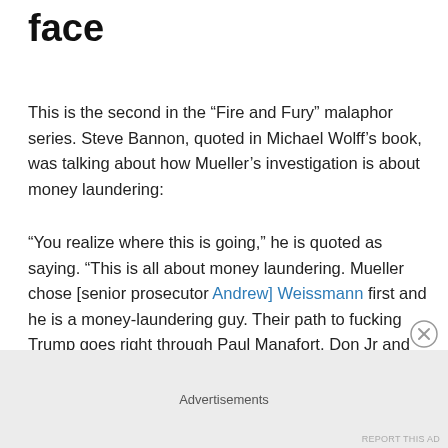face
This is the second in the “Fire and Fury” malaphor series. Steve Bannon, quoted in Michael Wolff’s book, was talking about how Mueller’s investigation is about money laundering:
“You realize where this is going,” he is quoted as saying. “This is all about money laundering. Mueller chose [senior prosecutor Andrew] Weissmann first and he is a money-laundering guy. Their path to fucking Trump goes right through Paul Manafort, Don Jr and Jared Kushner … It’s as plain as a hair on your face.”
Advertisements